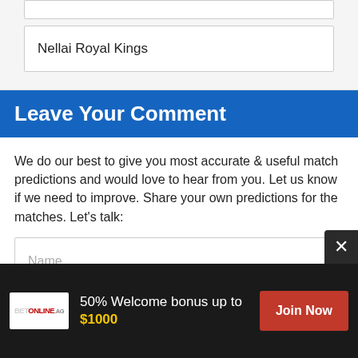Nellai Royal Kings
Leave Your Comment
We do our best to give you most accurate & useful match predictions and would love to hear from you. Let us know if we need to improve. Share your own predictions for the matches. Let's talk:
Name
50% Welcome bonus up to $1000
Join Now